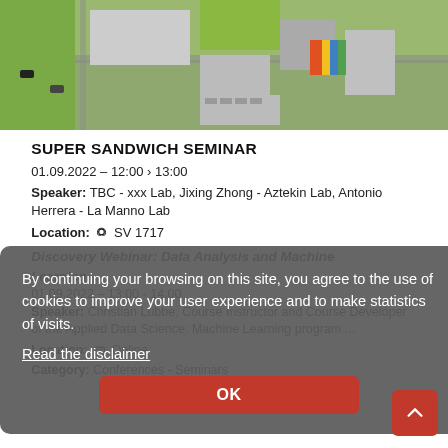[Figure (photo): Aerial view of a university campus with green spaces and colorful building]
SUPER SANDWICH SEMINAR
01.09.2022 – 12:00 › 13:00
Speaker: TBC - xxx Lab, Jixing Zhong - Aztekin Lab, Antonio Herrera - La Manno Lab
Location: SV 1717
Category: Conferences - Seminars
Discovery Webinar: Data Analysis and Machine Learning
01.09.2022 – 13:00 - 14:00
Speaker: Christian Lübbe, Course Instructor and Course Developer of the Applied Data Science: Machine Learning program ...
Location: Online
Category: Conferences - Seminars
By continuing your browsing on this site, you agree to the use of cookies to improve your user experience and to make statistics of visits.
Read the disclaimer
OK